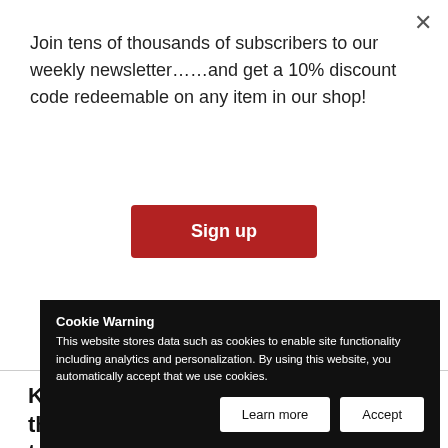Join tens of thousands of subscribers to our weekly newsletter……and get a 10% discount code redeemable on any item in our shop!
Sign up
KIB strives to become the leader in the banking industry by focusing on technological innovation, expanding its corporate banking arm, and building upon its rich history in the real estate sector.
BIO
Raed Bukhamseen has over 20 years of experience in the banking, real estate, and i...
Cookie Warning
This website stores data such as cookies to enable site functionality including analytics and personalization. By using this website, you automatically accept that we use cookies.
Learn more
Accept